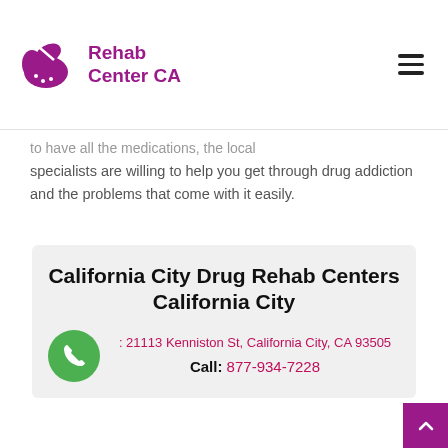Rehab Center CA
specialists are willing to help you get through drug addiction and the problems that come with it easily.
California City Drug Rehab Centers California City
21113 Kenniston St, California City, CA 93505
Call: 877-934-7228